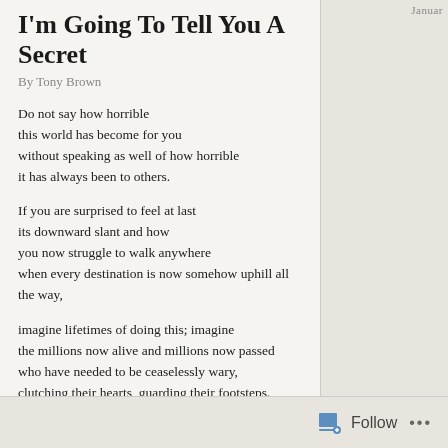I'm Going To Tell You A Secret
By Tony Brown
Do not say how horrible
this world has become for you
without speaking as well of how horrible
it has always been to others.
If you are surprised to feel at last
its downward slant and how
you now struggle to walk anywhere
when every destination is now somehow uphill all the way,
imagine lifetimes of doing this; imagine
the millions now alive and millions now passed
who have needed to be ceaselessly wary,
clutching their hearts, guarding their footsteps.
I'm going to tell you a secret
that's really never been a secret:
your prior ease was grounded
in the uneasiness of those others.
Follow ...